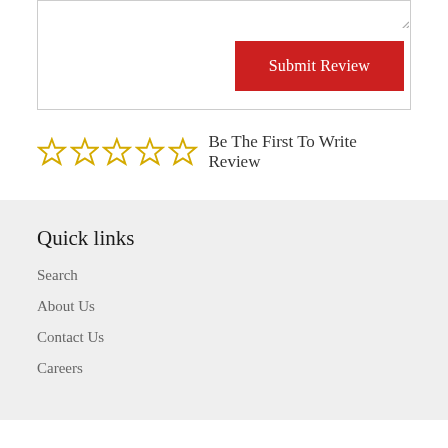[Figure (screenshot): A textarea input box with a resize handle in the bottom right corner, followed by a red Submit Review button aligned to the right.]
☆ ☆ ☆ ☆ ☆ Be The First To Write Review
Quick links
Search
About Us
Contact Us
Careers